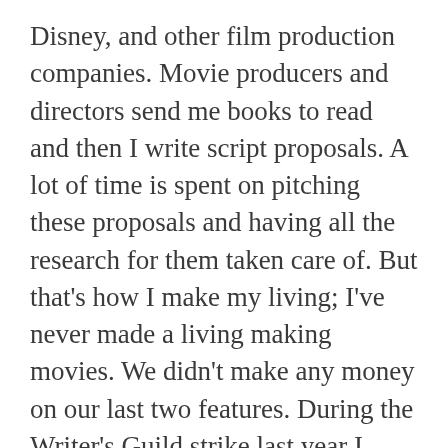Disney, and other film production companies. Movie producers and directors send me books to read and then I write script proposals. A lot of time is spent on pitching these proposals and having all the research for them taken care of. But that's how I make my living; I've never made a living making movies. We didn't make any money on our last two features. During the Writer's Guild strike last year I wrote a novel called Some Time in the Sun, which takes place in the Philippines between 1898 and 1902. Right now my agent is looking for a publisher for it.
Are there any new John Sayles films in the works?
JS: I just don't know how we can pull them off